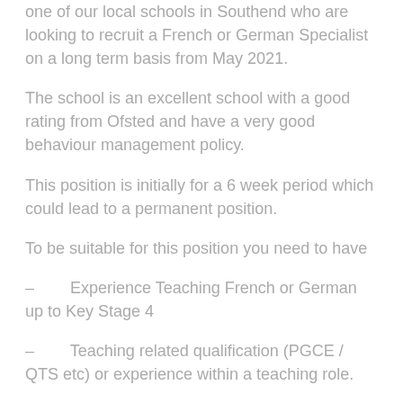one of our local schools in Southend who are looking to recruit a French or German Specialist on a long term basis from May 2021.
The school is an excellent school with a good rating from Ofsted and have a very good behaviour management policy.
This position is initially for a 6 week period which could lead to a permanent position.
To be suitable for this position you need to have
– Experience Teaching French or German up to Key Stage 4
– Teaching related qualification (PGCE / QTS etc) or experience within a teaching role.
– A real passion for education & Teaching
We are very keen to find the ideal school for you prior to